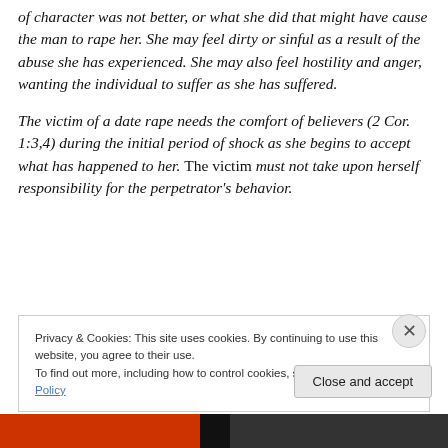of character was not better, or what she did that might have cause the man to rape her. She may feel dirty or sinful as a result of the abuse she has experienced. She may also feel hostility and anger, wanting the individual to suffer as she has suffered.
The victim of a date rape needs the comfort of believers (2 Cor. 1:3,4) during the initial period of shock as she begins to accept what has happened to her. The victim must not take upon herself responsibility for the perpetrator's behavior.
Privacy & Cookies: This site uses cookies. By continuing to use this website, you agree to their use.
To find out more, including how to control cookies, see here: Cookie Policy